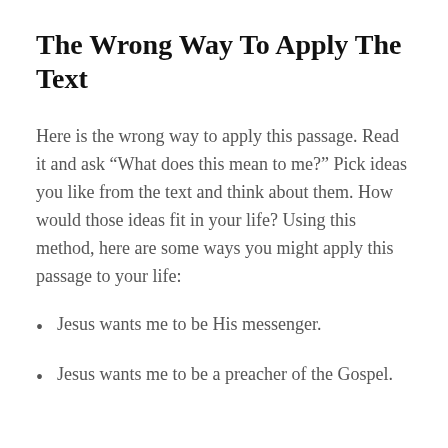The Wrong Way To Apply The Text
Here is the wrong way to apply this passage. Read it and ask “What does this mean to me?” Pick ideas you like from the text and think about them. How would those ideas fit in your life? Using this method, here are some ways you might apply this passage to your life:
Jesus wants me to be His messenger.
Jesus wants me to be a preacher of the Gospel.